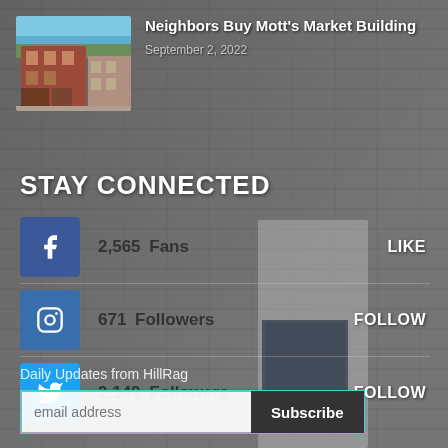[Figure (photo): Article thumbnail showing a red brick building/market in a neighborhood]
Neighbors Buy Mott's Market Building
September 2, 2022
STAY CONNECTED
2,565  Fans  LIKE
671  Followers  FOLLOW
2,149  Followers  FOLLOW
Daily Updates from HillRag
email address  Subscribe